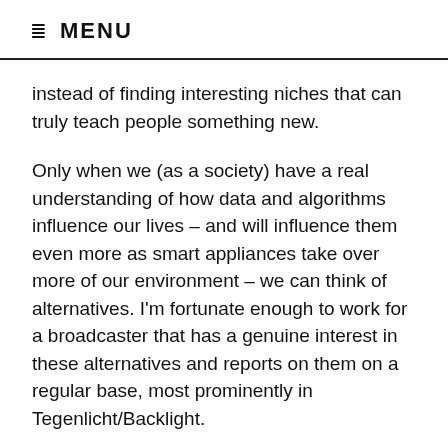MENU
instead of finding interesting niches that can truly teach people something new.
Only when we (as a society) have a real understanding of how data and algorithms influence our lives – and will influence them even more as smart appliances take over more of our environment – we can think of alternatives. I'm fortunate enough to work for a broadcaster that has a genuine interest in these alternatives and reports on them on a regular base, most prominently in Tegenlicht/Backlight.
Imagination is the foundation of every technological innovation and every invention. The American author Neal Stephenson has teamed up with the University